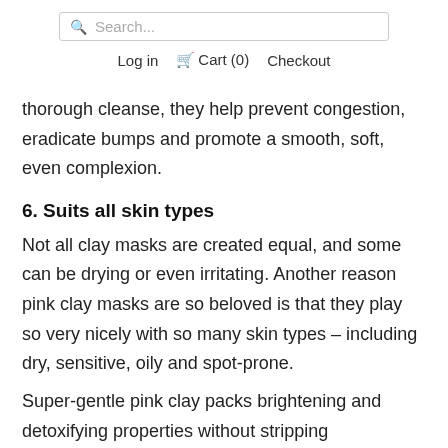Search...  Log in  Cart (0)  Checkout
thorough cleanse, they help prevent congestion, eradicate bumps and promote a smooth, soft, even complexion.
6. Suits all skin types
Not all clay masks are created equal, and some can be drying or even irritating. Another reason pink clay masks are so beloved is that they play so very nicely with so many skin types – including dry, sensitive, oily and spot-prone.
Super-gentle pink clay packs brightening and detoxifying properties without stripping